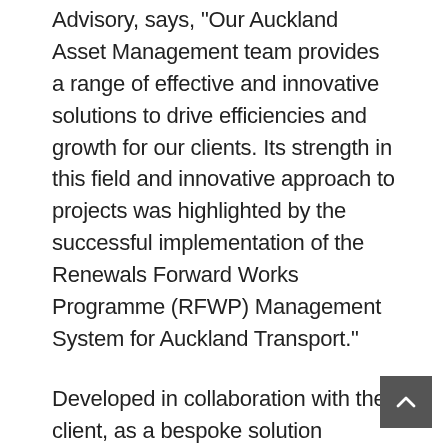Advisory, says, "Our Auckland Asset Management team provides a range of effective and innovative solutions to drive efficiencies and growth for our clients. Its strength in this field and innovative approach to projects was highlighted by the successful implementation of the Renewals Forward Works Programme (RFWP) Management System for Auckland Transport."
Developed in collaboration with the client, as a bespoke solution embedded within the existing RAMM